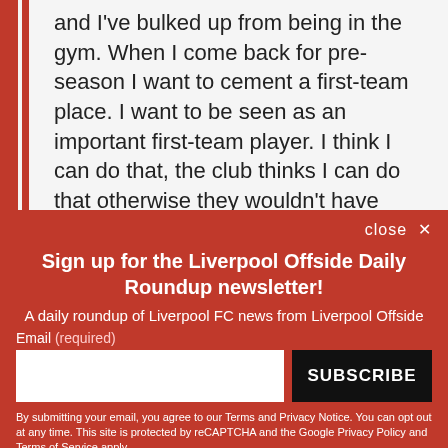and I've bulked up from being in the gym. When I come back for pre-season I want to cement a first-team place. I want to be seen as an important first-team player. I think I can do that, the club thinks I can do that otherwise they wouldn't have bought me. If given the chances, I will."
close ✕
Sign up for the Liverpool Offside Daily Roundup newsletter!
A daily roundup of Liverpool FC news from Liverpool Offside
Email (required)
SUBSCRIBE
By submitting your email, you agree to our Terms and Privacy Notice. You can opt out at any time. This site is protected by reCAPTCHA and the Google Privacy Policy and Terms of Service apply.